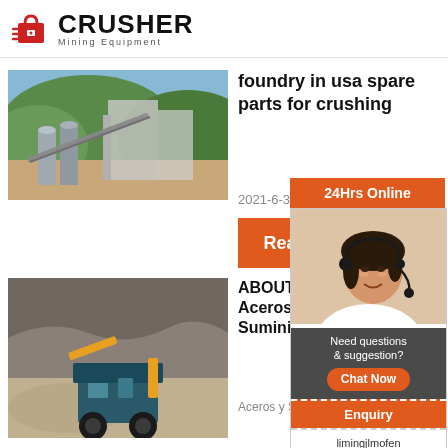CRUSHER Mining Equipment
foundry in usa spare parts for crushing
[Figure (photo): Aerial view of a mining/crushing plant facility with conveyor belts, silos, and industrial structures against green hills]
2021-6-3
[Figure (infographic): 24Hrs Online chat widget with photo of female customer service agent wearing headset, Chat Now button, Enquiry button, and limingjlmofen@sina.com email]
Read
ABOUT Aceros Suministr
[Figure (photo): Outdoor crushing/mining operation with heavy machinery and rock material being processed]
Aceros y S